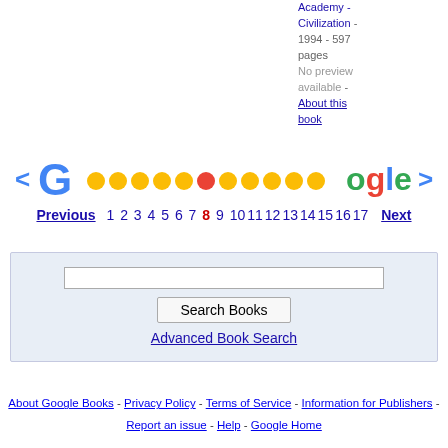Academy - Civilization - 1994 - 597 pages
No preview available -
About this book
[Figure (other): Google pagination bar with left/right arrows and colored dots forming the Google logo, with page numbers 1-17 below, current page 8 highlighted in red]
[Figure (other): Search box with text input field, Search Books button, and Advanced Book Search link on light blue background]
About Google Books - Privacy Policy - Terms of Service - Information for Publishers - Report an issue - Help - Google Home